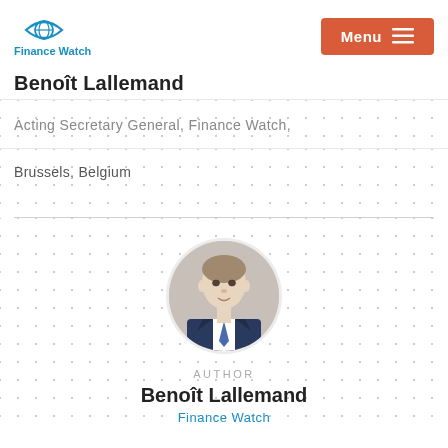[Figure (logo): Finance Watch logo with globe eye icon and blue text]
Benoît Lallemand
Acting Secretary General, Finance Watch,
Brussels, Belgium
[Figure (photo): Circular profile photo of Benoît Lallemand in a suit]
AUTHOR
Benoît Lallemand
Finance Watch